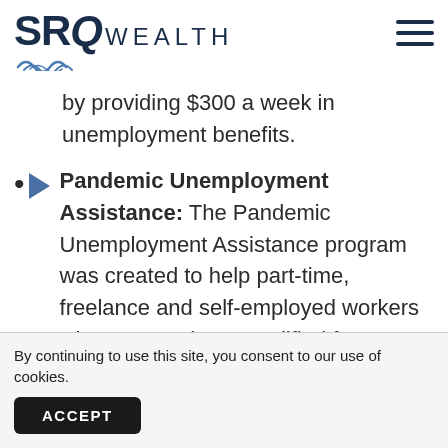SRQ WEALTH
by providing $300 a week in unemployment benefits.
Pandemic Unemployment Assistance: The Pandemic Unemployment Assistance program was created to help part-time, freelance and self-employed workers who may not have qualified for state unemployment insurance benefits. Under the new bill, this program is extended for 11 weeks, with a stipulation that
By continuing to use this site, you consent to our use of cookies.